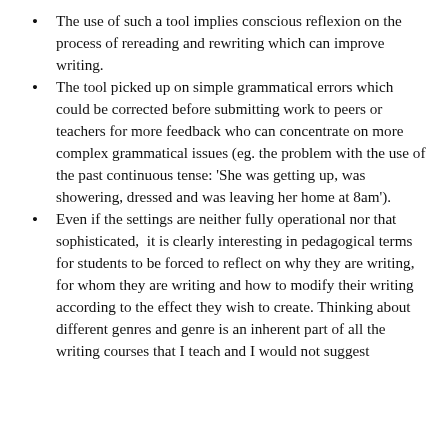The use of such a tool implies conscious reflexion on the process of rereading and rewriting which can improve writing.
The tool picked up on simple grammatical errors which could be corrected before submitting work to peers or teachers for more feedback who can concentrate on more complex grammatical issues (eg. the problem with the use of the past continuous tense: ‘She was getting up, was showering, dressed and was leaving her home at 8am’).
Even if the settings are neither fully operational nor that sophisticated,  it is clearly interesting in pedagogical terms  for students to be forced to reflect on why they are writing, for whom they are writing and how to modify their writing according to the effect they wish to create. Thinking about different genres and genre is an inherent part of all the writing courses that I teach and I would not suggest